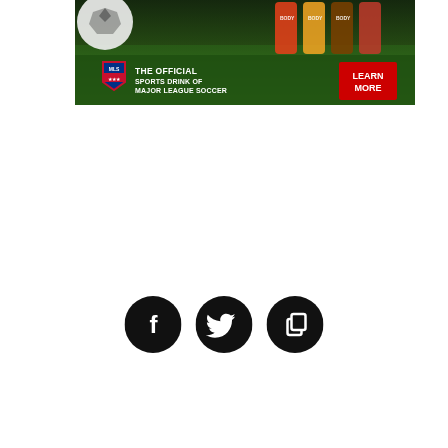[Figure (infographic): Advertisement banner for Bodyarmor sports drink — 'The Official Sports Drink of Major League Soccer' with MLS shield logo, grass and soccer ball background, colorful Bodyarmor bottles, and a red 'Learn More' button.]
[Figure (infographic): Three black circular social media icon buttons: Facebook (f), Twitter (bird), and a copy/share icon, arranged horizontally.]